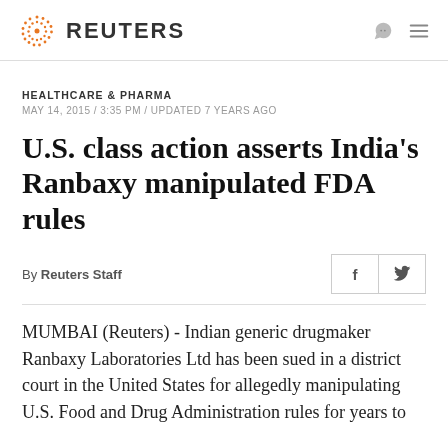REUTERS
HEALTHCARE & PHARMA
MAY 14, 2015 / 3:35 PM / UPDATED 7 YEARS AGO
U.S. class action asserts India's Ranbaxy manipulated FDA rules
By Reuters Staff
MUMBAI (Reuters) - Indian generic drugmaker Ranbaxy Laboratories Ltd has been sued in a district court in the United States for allegedly manipulating U.S. Food and Drug Administration rules for years to